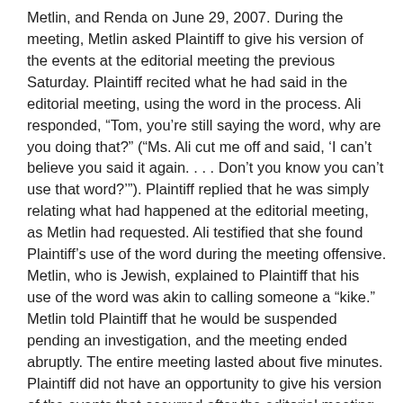Metlin, and Renda on June 29, 2007. During the meeting, Metlin asked Plaintiff to give his version of the events at the editorial meeting the previous Saturday. Plaintiff recited what he had said in the editorial meeting, using the word in the process. Ali responded, “Tom, you’re still saying the word, why are you doing that?” (“Ms. Ali cut me off and said, ‘I can’t believe you said it again. . . . Don’t you know you can’t use that word?’”). Plaintiff replied that he was simply relating what had happened at the editorial meeting, as Metlin had requested. Ali testified that she found Plaintiff’s use of the word during the meeting offensive. Metlin, who is Jewish, explained to Plaintiff that his use of the word was akin to calling someone a “kike.” Metlin told Plaintiff that he would be suspended pending an investigation, and the meeting ended abruptly. The entire meeting lasted about five minutes. Plaintiff did not have an opportunity to give his version of the events that occurred after the editorial meeting, including his apologies to coworkers.